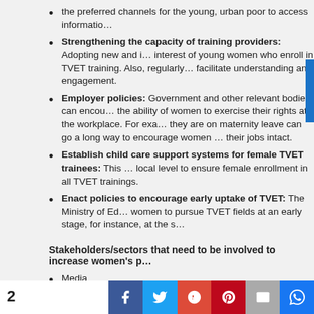the preferred channels for the young, urban poor to access informatio…
Strengthening the capacity of training providers: Adopting new and i… interest of young women who enroll in TVET training. Also, regularly… facilitate understanding and engagement.
Employer policies: Government and other relevant bodies can encou… the ability of women to exercise their rights at the workplace. For exa… they are on maternity leave can go a long way to encourage women … their jobs intact.
Establish child care support systems for female TVET trainees: This … local level to ensure female enrollment in all TVET trainings.
Enact policies to encourage early uptake of TVET: The Ministry of Ed… women to pursue TVET fields at an early stage, for instance, at the s…
Stakeholders/sectors that need to be involved to increase women's p…
Media
Parents and relatives
NGOs
Government
Educational institutions